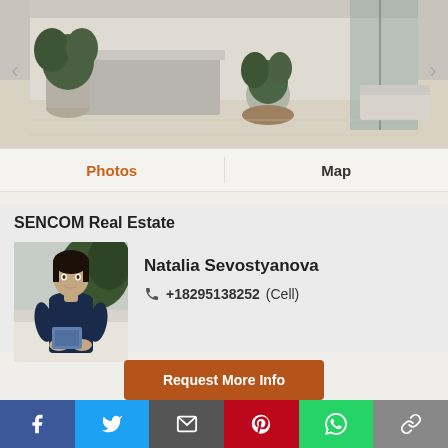[Figure (photo): Interior photo of a modern luxury living space with marble reception desk, plants, and open floor plan]
Photos
Map
SENCOM Real Estate
[Figure (photo): Professional headshot of Natalia Sevostyanova, a woman in dark clothing seated on a white sofa]
Natalia Sevostyanova
+18295138252 (Cell)
Request More Info